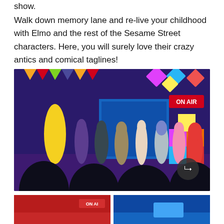show.
Walk down memory lane and re-live your childhood with Elmo and the rest of the Sesame Street characters. Here, you will surely love their crazy antics and comical taglines!
[Figure (photo): Sesame Street characters on stage including Big Bird, Bert, Ernie, Elmo and others performing a live show with colorful decorations and an ON AIR sign in the upper right. Audience silhouettes visible in the foreground.]
[Figure (photo): Partial thumbnail images at bottom of page showing additional Sesame Street show scenes, one with ON AIR text visible.]